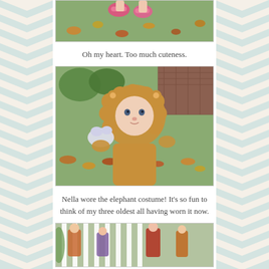[Figure (photo): Partial photo at top showing a child's pink shoes and legs with autumn leaves on grass]
Oh my heart. Too much cuteness.
[Figure (photo): Baby dressed in a lion Halloween costume, holding a stuffed animal, standing in a yard with fallen autumn leaves]
Nella wore the elephant costume! It's so fun to think of my three oldest all having worn it now.
[Figure (photo): Partial photo at bottom showing children on a porch with white railing]